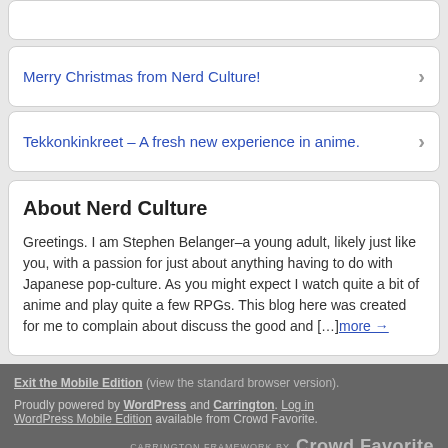Merry Christmas from Nerd Culture!
Tekkonkinkreet – A fresh new experience in anime.
About Nerd Culture
Greetings. I am Stephen Belanger–a young adult, likely just like you, with a passion for just about anything having to do with Japanese pop-culture. As you might expect I watch quite a bit of anime and play quite a few RPGs. This blog here was created for me to complain about discuss the good and […]more →
Exit the Mobile Edition (view the standard browser version). Proudly powered by WordPress and Carrington. Log in WordPress Mobile Edition available from Crowd Favorite. CARRINGTON FRAMEWORK BY Crowd Favorite
Bad Behavior has blocked 564 access attempts in the last 7 days.